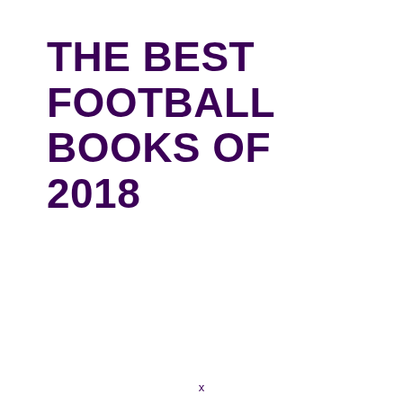THE BEST FOOTBALL BOOKS OF 2018
x